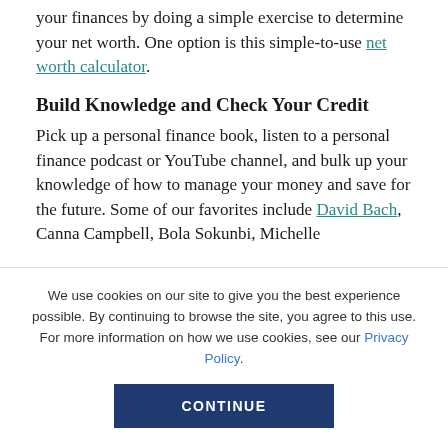your finances by doing a simple exercise to determine your net worth. One option is this simple-to-use net worth calculator.
Build Knowledge and Check Your Credit
Pick up a personal finance book, listen to a personal finance podcast or YouTube channel, and bulk up your knowledge of how to manage your money and save for the future. Some of our favorites include David Bach, Canna Campbell, Bola Sokunbi, Michelle
We use cookies on our site to give you the best experience possible. By continuing to browse the site, you agree to this use. For more information on how we use cookies, see our Privacy Policy.